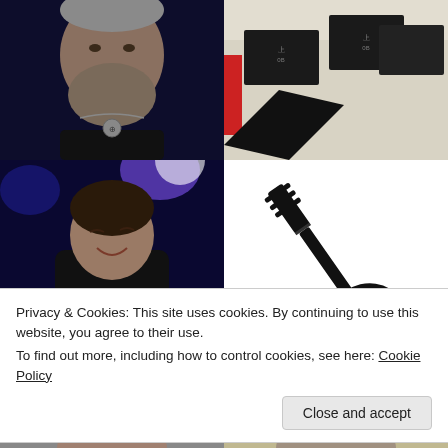[Figure (photo): Man with grey beard wearing black t-shirt with pendant necklace, dark background]
[Figure (photo): Black rectangular items (possibly wallets or cases) on a beige/cream surface with some Japanese or Chinese text labels]
[Figure (photo): Young man performing, wearing black t-shirt, tattoos on arms, blue stage lighting]
[Figure (illustration): Black silhouette icon of a Les Paul style electric guitar]
Privacy & Cookies: This site uses cookies. By continuing to use this website, you agree to their use.
To find out more, including how to control cookies, see here: Cookie Policy
Close and accept
[Figure (photo): Partial photo of person at bottom left]
[Figure (photo): Partial photo of person at bottom right]